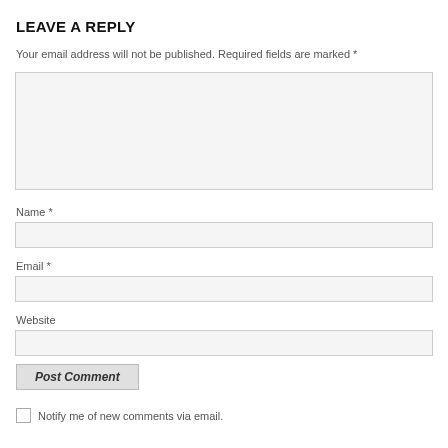LEAVE A REPLY
Your email address will not be published. Required fields are marked *
[Figure (other): Large comment text area input box with light gray background]
Name *
[Figure (other): Name input field with light gray background]
Email *
[Figure (other): Email input field with light gray background]
Website
[Figure (other): Website input field with light gray background]
[Figure (other): Post Comment submit button, gray background, bold italic text]
Notify me of new comments via email.